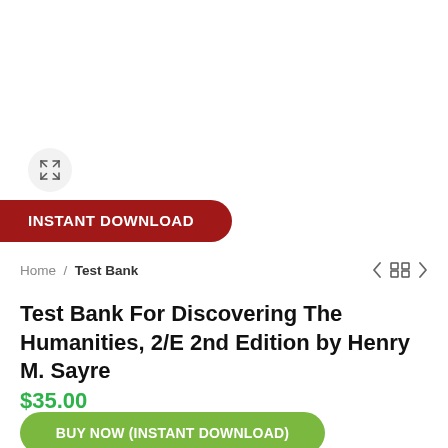[Figure (other): Expand/zoom icon button — circle with outward-pointing arrows]
INSTANT DOWNLOAD
Home / Test Bank
Test Bank For Discovering The Humanities, 2/E 2nd Edition by Henry M. Sayre
$35.00
BUY NOW (INSTANT DOWNLOAD)